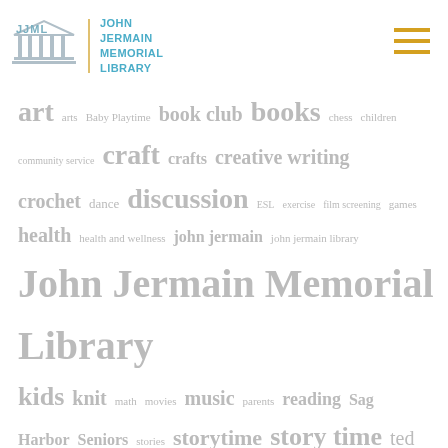[Figure (logo): John Jermain Memorial Library logo with JJML text and building icon in blue/grey, library name in teal uppercase text, separated by a gold vertical divider. Hamburger menu icon in gold on the right.]
[Figure (infographic): Tag cloud showing library-related topics in varying font sizes. Largest: 'John Jermain Memorial Library'. Large: 'art', 'book club', 'books', 'craft', 'creative writing', 'crochet', 'discussion', 'health', 'kids', 'knit', 'music', 'reading', 'storytime', 'story time', 'Teens', 'Writing', 'yarn'. Medium: 'john jermain', 'Sag Harbor', 'Seniors', 'ted ed', 'Trivia', 'wellness'. Small: 'arts', 'Baby Playtime', 'chess', 'children', 'community service', 'crafts', 'dance', 'ESL', 'exercise', 'film screening', 'games', 'health and wellness', 'john jermain library', 'math', 'movies', 'parents', 'stories', 'teen', 'teen writing', 'Wagner Teen Writing', 'writing café'.]